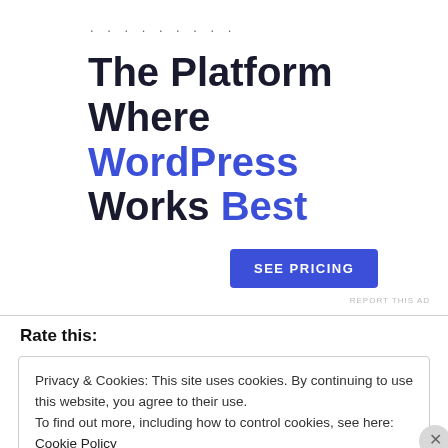. . . . . . . . .
The Platform Where WordPress Works Best
SEE PRICING
REPORT THIS AD
Rate this:
Privacy & Cookies: This site uses cookies. By continuing to use this website, you agree to their use.
To find out more, including how to control cookies, see here: Cookie Policy
Close and accept